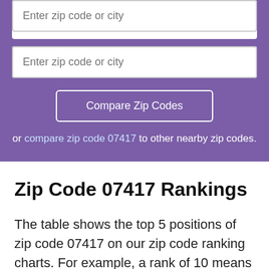[Figure (screenshot): Purple section with two input fields for zip code or city, a Compare Zip Codes button, and a link to compare nearby zip codes]
Zip Code 07417 Rankings
The table shows the top 5 positions of zip code 07417 on our zip code ranking charts. For example, a rank of 10 means that a zip code ranks #10 on the list of the top zip codes in America for a particular value. The lists were created for all zip codes in America with the population of 1000 residents or higher.